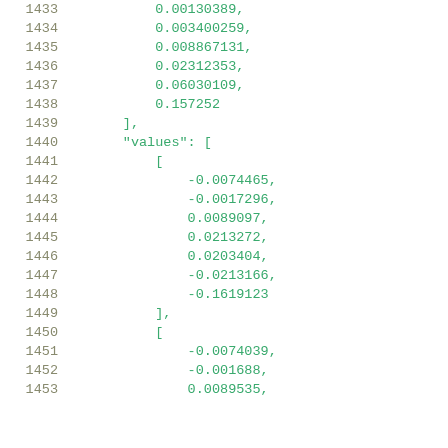Code listing lines 1433-1453 showing numeric array data with line numbers. Values include 0.00130389, 0.003400259, 0.008867131, 0.02312353, 0.06030109, 0.157252 in first array, then values array with nested arrays containing -0.0074465, -0.0017296, 0.0089097, 0.0213272, 0.0203404, -0.0213166, -0.1619123 and -0.0074039, -0.001688, 0.0089535